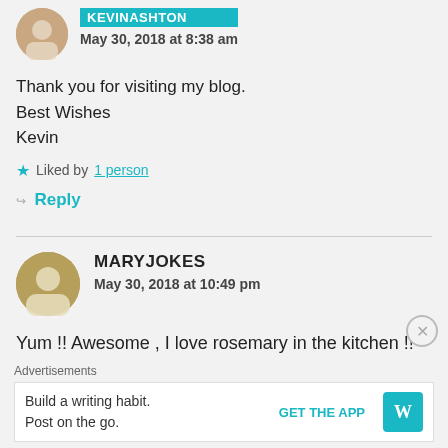[Figure (photo): Round avatar photo of Kevin Ashton, showing a white/cream colored image]
KEVINASHTON
May 30, 2018 at 8:38 am
Thank you for visiting my blog.
Best Wishes
Kevin
Liked by 1 person
Reply
[Figure (photo): Round avatar photo of Mary Jokes, showing a person in white]
MARYJOKES
May 30, 2018 at 10:49 pm
Yum !! Awesome , I love rosemary in the kitchen !!
Advertisements
Build a writing habit.
Post on the go.
GET THE APP